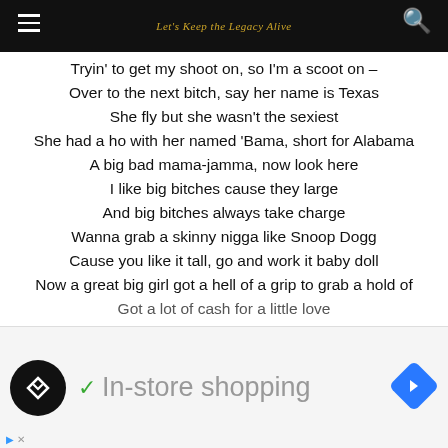Let's Keep the Legacy Alive
Tryin' to get my shoot on, so I'm a scoot on –
Over to the next bitch, say her name is Texas
She fly but she wasn't the sexiest
She had a ho with her named 'Bama, short for Alabama
A big bad mama-jamma, now look here
I like big bitches cause they large
And big bitches always take charge
Wanna grab a skinny nigga like Snoop Dogg
Cause you like it tall, go and work it baby doll
Now a great big girl got a hell of a grip to grab a hold of
Got a lot of cash for a little love
[Figure (infographic): Advertisement banner showing In-store shopping with logo and navigation icon]